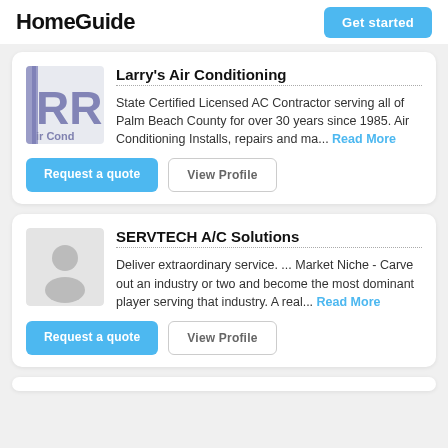HomeGuide
Get started
[Figure (logo): RR Air Conditioning company logo with stylized letters RR and text 'ir Cond' in blue/gray]
Larry's Air Conditioning
State Certified Licensed AC Contractor serving all of Palm Beach County for over 30 years since 1985.  Air Conditioning Installs, repairs and ma... Read More
Request a quote
View Profile
[Figure (illustration): Generic user/person placeholder silhouette icon on light gray background]
SERVTECH A/C Solutions
Deliver extraordinary service. ... Market Niche - Carve out an industry or two and become the most dominant player serving that industry. A real... Read More
Request a quote
View Profile